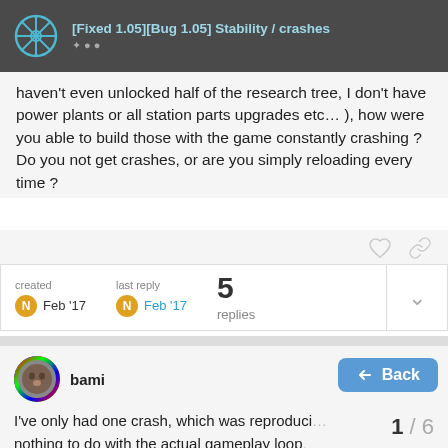[Fixed 1.05][Bug 1.05] Stability / crashes
haven't even unlocked half of the research tree, I don't have power plants or all station parts upgrades etc... ), how were you able to build those with the game constantly crashing ? Do you not get crashes, or are you simply reloading every time ?
created Feb '17   last reply Feb '17   5 replies
bami   Feb '17
I've only had one crash, which was reproduci... nothing to do with the actual gameplay loop.
For the rest, I've been playing close to 8...
1 / 6